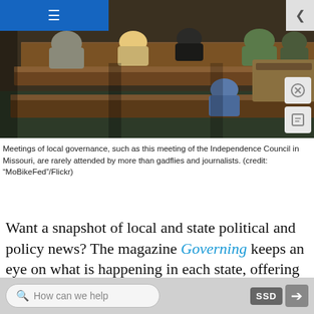[Figure (photo): People seated in wooden pews/benches at a local government council meeting, viewed from behind. A podium/desk is visible at the front right. The room has dark carpet.]
Meetings of local governance, such as this meeting of the Independence Council in Missouri, are rarely attended by more than gadflies and journalists. (credit: “MoBikeFed”/Flickr)
Want a snapshot of local and state political and policy news? The magazine Governing keeps an eye on what is happening in each state, offering articles and analysis on events that occur across the country.